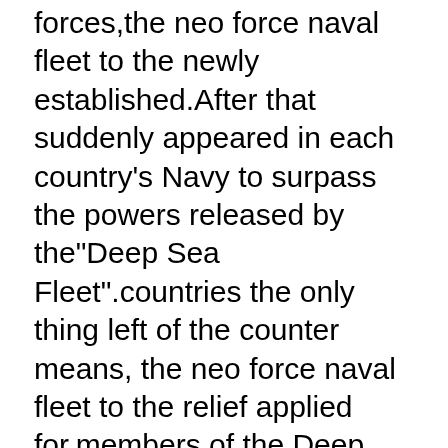forces,the neo force naval fleet to the newly established.After that suddenly appeared in each country's Navy to surpass the powers released by the"Deep Sea Fleet".countries the only thing left of the counter means, the neo force naval fleet to the relief applied for,members of the Deep Sea Fleet and repel them from did not...... unidentified enemies of the"Deep Sea Fleet"is...? They continue to fight why...?neo Force personnel and continue to fight her our story now begins... [game system]◆strategic overflowing naval battle simulation RPGneo Force Navy fleet commanders a variety of skills▯ship kind of compatibility▯equipped with a variety use real-time through a naval battle and lead them to victory.operation is not good people and people who are busy the whole action to